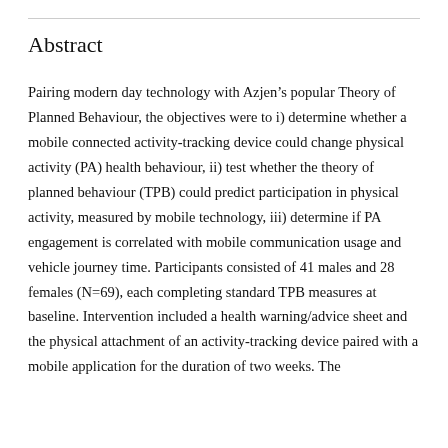Abstract
Pairing modern day technology with Azjen’s popular Theory of Planned Behaviour, the objectives were to i) determine whether a mobile connected activity-tracking device could change physical activity (PA) health behaviour, ii) test whether the theory of planned behaviour (TPB) could predict participation in physical activity, measured by mobile technology, iii) determine if PA engagement is correlated with mobile communication usage and vehicle journey time. Participants consisted of 41 males and 28 females (N=69), each completing standard TPB measures at baseline. Intervention included a health warning/advice sheet and the physical attachment of an activity-tracking device paired with a mobile application for the duration of two weeks. The